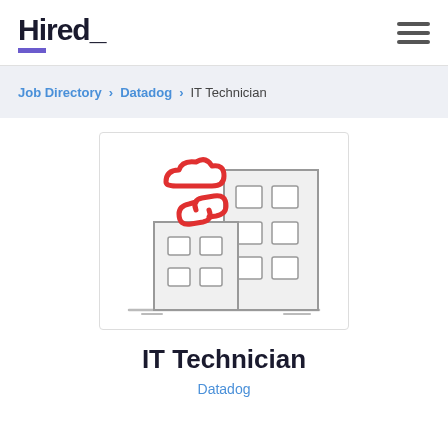Hired_
Job Directory > Datadog > IT Technician
[Figure (illustration): Company/city building illustration with red cloud/link icons and grey office buildings]
IT Technician
Datadog